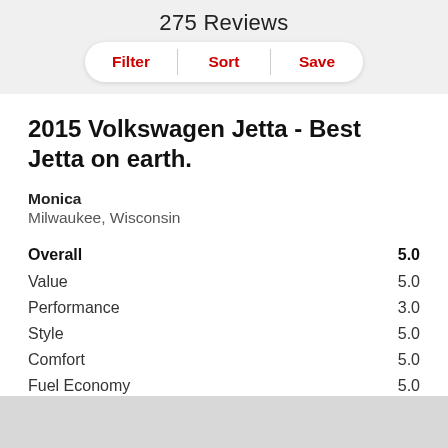275 Reviews
Filter | Sort | Save
2015 Volkswagen Jetta - Best Jetta on earth.
Monica
Milwaukee, Wisconsin
| Category | Score |
| --- | --- |
| Overall | 5.0 |
| Value | 5.0 |
| Performance | 3.0 |
| Style | 5.0 |
| Comfort | 5.0 |
| Fuel Economy | 5.0 |
| Reliability | 5.0 |